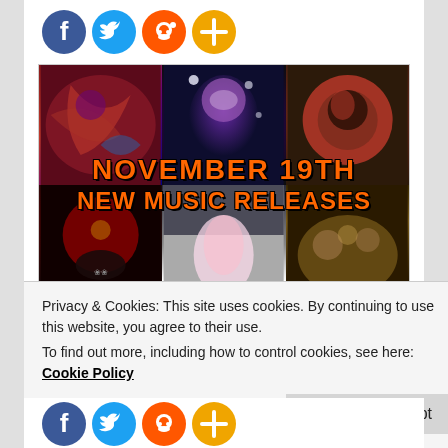[Figure (illustration): Row of four social media share icons: Facebook (blue circle with f), Twitter (light blue circle with bird), Reddit (orange circle with alien mascot), and a plus/share icon (gold/orange circle with plus sign)]
[Figure (photo): Collage of 6 album covers arranged in 2 rows of 3, overlaid with text 'NOVEMBER 19TH NEW MUSIC RELEASES' in orange Impact-style font with black outline]
Purchase and Stream all the New Music
Privacy & Cookies: This site uses cookies. By continuing to use this website, you agree to their use.
To find out more, including how to control cookies, see here: Cookie Policy
[Figure (illustration): Partial row of social media share icons at the bottom of the page: Facebook (blue), Twitter (light blue), Reddit (orange), plus/share (gold)]